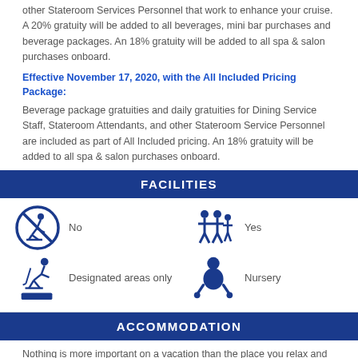other Stateroom Services Personnel that work to enhance your cruise. A 20% gratuity will be added to all beverages, mini bar purchases and beverage packages. An 18% gratuity will be added to all spa & salon purchases onboard.
Effective November 17, 2020, with the All Included Pricing Package:
Beverage package gratuities and daily gratuities for Dining Service Staff, Stateroom Attendants, and other Stateroom Service Personnel are included as part of All Included pricing. An 18% gratuity will be added to all spa & salon purchases onboard.
FACILITIES
[Figure (infographic): Facilities icons: No (crossed out skier icon), Yes (family icon), Designated areas only (figure skiing icon), Nursery (baby icon)]
ACCOMMODATION
Nothing is more important on a vacation than the place you relax and recharge in between all the exciting experiences you'll have each day. Our Edge® Series set a new standard in world-class accommodations, but Celebrity Beyond℠ shows you can even improve on perfection. From our Edge Single Staterooms with Infinite Verandas® designed for the solo traveler